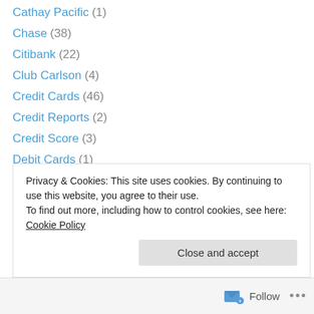Cathay Pacific (1)
Chase (38)
Citibank (22)
Club Carlson (4)
Credit Cards (46)
Credit Reports (2)
Credit Score (3)
Debit Cards (1)
Delta (15)
Discover (1)
Emirates (2)
Etihad (1)
Fairmont (2)
Fidelity (1)
Privacy & Cookies: This site uses cookies. By continuing to use this website, you agree to their use. To find out more, including how to control cookies, see here: Cookie Policy
Follow ...